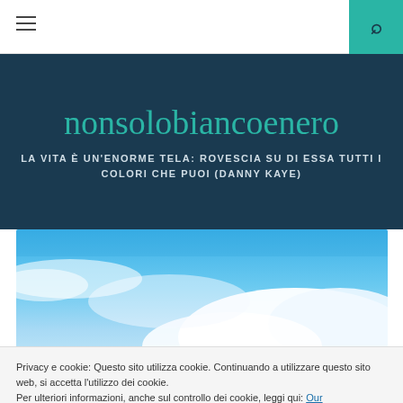≡  🔍
nonsolobiancoenero
LA VITA È UN'ENORME TELA: ROVESCIA SU DI ESSA TUTTI I COLORI CHE PUOI (DANNY KAYE)
[Figure (photo): Blue sky with white clouds, photographed from below]
Privacy e cookie: Questo sito utilizza cookie. Continuando a utilizzare questo sito web, si accetta l'utilizzo dei cookie.
Per ulteriori informazioni, anche sul controllo dei cookie, leggi qui: Our Cookie Policy
Chiudi e accetta